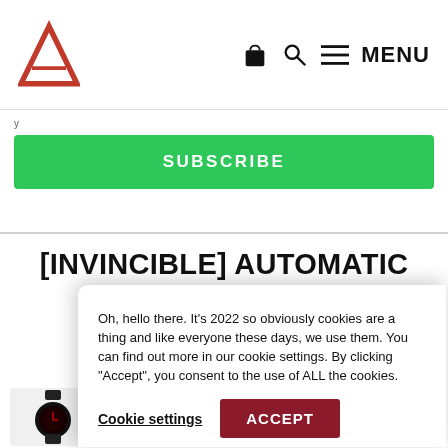MENU
SUBSCRIBE
[INVINCIBLE] AUTOMATIC
Oh, hello there. It's 2022 so obviously cookies are a thing and like everyone these days, we use them. You can find out more in our cookie settings. By clicking "Accept", you consent to the use of ALL the cookies.
Cookie settings
ACCEPT
Pre-or